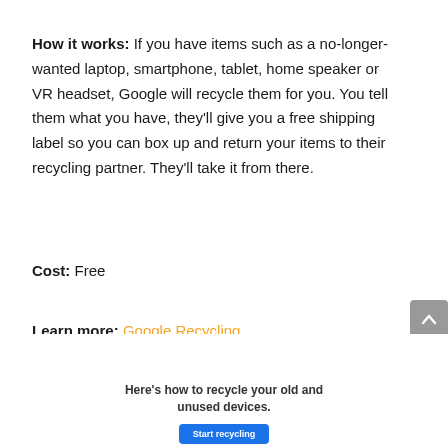How it works: If you have items such as a no-longer-wanted laptop, smartphone, tablet, home speaker or VR headset, Google will recycle them for you. You tell them what you have, they'll give you a free shipping label so you can box up and return your items to their recycling partner. They'll take it from there.
Cost: Free
Learn more: Google Recycling
[Figure (screenshot): Screenshot of a webpage widget with text 'Here's how to recycle your old and unused devices.' and a blue 'Start recycling' button.]